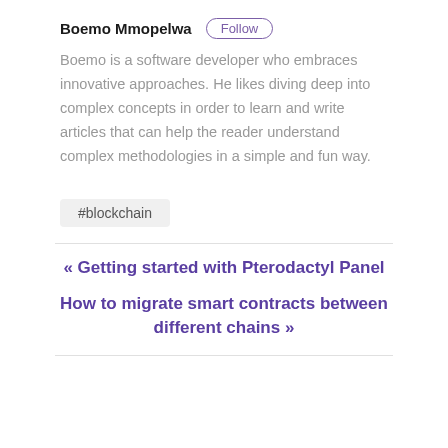Boemo Mmopelwa
Follow
Boemo is a software developer who embraces innovative approaches. He likes diving deep into complex concepts in order to learn and write articles that can help the reader understand complex methodologies in a simple and fun way.
#blockchain
« Getting started with Pterodactyl Panel
How to migrate smart contracts between different chains »